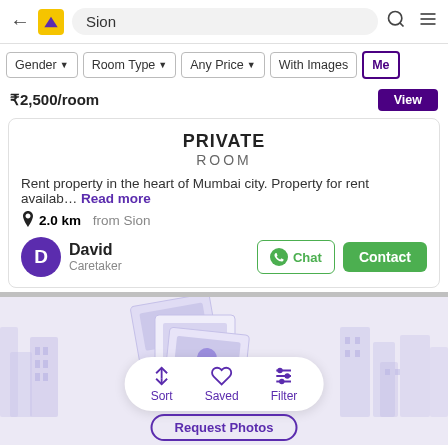← Sion
Gender  Room Type  Any Price  With Images  Me
₹2,500/room
PRIVATE ROOM
Rent property in the heart of Mumbai city. Property for rent availab… Read more
2.0 km from Sion
David
Caretaker
[Figure (illustration): Ghost/faded background illustration of buildings and photo placeholders in pale purple/lavender tones, with a bottom toolbar showing Sort, Saved, Filter icons and a Request Photos button]
Sort  Saved  Filter
Request Photos